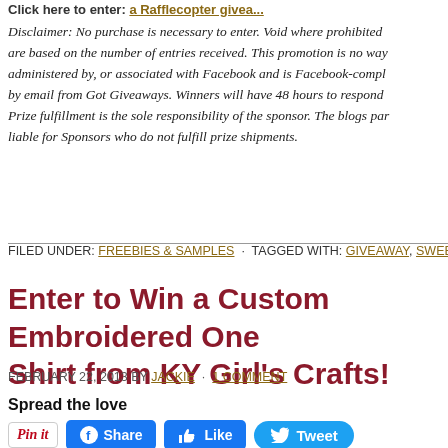Click here to enter: a Rafflecopter givea...
Disclaimer: No purchase is necessary to enter. Void where prohibited are based on the number of entries received. This promotion is no way administered by, or associated with Facebook and is Facebook-compl... by email from Got Giveaways. Winners will have 48 hours to respond Prize fulfillment is the sole responsibility of the sponsor. The blogs par... liable for Sponsors who do not fulfill prize shipments.
FILED UNDER: FREEBIES & SAMPLES · TAGGED WITH: GIVEAWAY, SWEEPSTAKE...
Enter to Win a Custom Embroidered One... Shirt from KY Girl's Crafts!
FEBRUARY 22, 2013 BY JACKIE · 1 COMMENT
Spread the love
[Figure (other): Social sharing buttons: Pin it, Share (Facebook), Like (Facebook), Tweet (Twitter)]